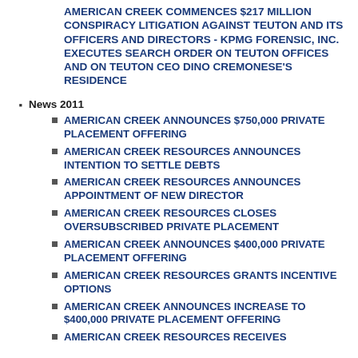AMERICAN CREEK COMMENCES $217 MILLION CONSPIRACY LITIGATION AGAINST TEUTON AND ITS OFFICERS AND DIRECTORS - KPMG FORENSIC, INC. EXECUTES SEARCH ORDER ON TEUTON OFFICES AND ON TEUTON CEO DINO CREMONESE'S RESIDENCE
News 2011
AMERICAN CREEK ANNOUNCES $750,000 PRIVATE PLACEMENT OFFERING
AMERICAN CREEK RESOURCES ANNOUNCES INTENTION TO SETTLE DEBTS
AMERICAN CREEK RESOURCES ANNOUNCES APPOINTMENT OF NEW DIRECTOR
AMERICAN CREEK RESOURCES CLOSES OVERSUBSCRIBED PRIVATE PLACEMENT
AMERICAN CREEK ANNOUNCES $400,000 PRIVATE PLACEMENT OFFERING
AMERICAN CREEK RESOURCES GRANTS INCENTIVE OPTIONS
AMERICAN CREEK ANNOUNCES INCREASE TO $400,000 PRIVATE PLACEMENT OFFERING
AMERICAN CREEK RESOURCES RECEIVES